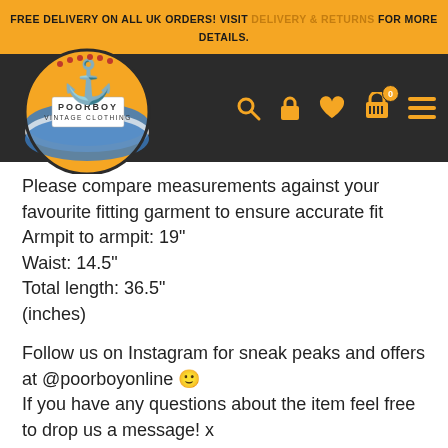FREE DELIVERY ON ALL UK ORDERS! VISIT DELIVERY & RETURNS FOR MORE DETAILS.
[Figure (logo): Poorboy Vintage Clothing logo — circular badge with orange background, anchor illustration, and text 'POORBOY VINTAGE CLOTHING']
Please compare measurements against your favourite fitting garment to ensure accurate fit
Armpit to armpit: 19"
Waist: 14.5"
Total length: 36.5"
(inches)
Follow us on Instagram for sneak peaks and offers at @poorboyonline 🙂
If you have any questions about the item feel free to drop us a message! x